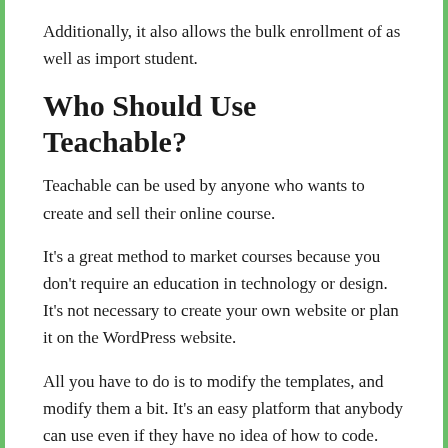Additionally, it also allows the bulk enrollment of as well as import student.
Who Should Use Teachable?
Teachable can be used by anyone who wants to create and sell their online course.
It's a great method to market courses because you don't require an education in technology or design. It's not necessary to create your own website or plan it on the WordPress website.
All you have to do is to modify the templates, and modify them a bit. It's an easy platform that anybody can use even if they have no idea of how to code.
Digital marketing professionals educators, instructors,